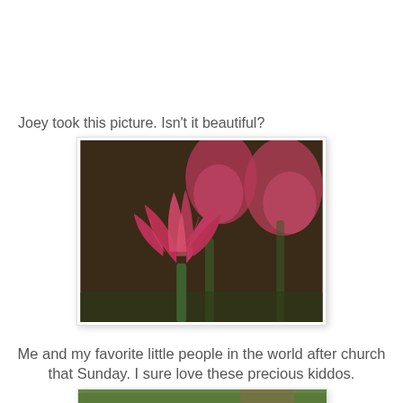Joey took this picture. Isn't it beautiful?
[Figure (photo): Close-up photo of red/pink tulips with a blurred dark background. One tulip is in sharp focus in the foreground while two others are blurred behind it.]
Me and my favorite little people in the world after church that Sunday. I sure love these precious kiddos.
[Figure (photo): Partial view of a photo showing outdoor scene, partially visible at bottom of page.]